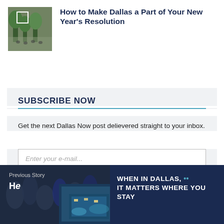[Figure (photo): Thumbnail photo of a Dallas outdoor scene with greenery and people]
How to Make Dallas a Part of Your New Year's Resolution
SUBSCRIBE NOW
Get the next Dallas Now post delievered straight to your inbox.
Enter your e-mail...
SUBSCRIBE
Previous Story
H…
[Figure (photo): Thumbnail of a Dallas hotel or venue at night with blue lighting]
WHEN IN DALLAS, •• IT MATTERS WHERE YOU STAY